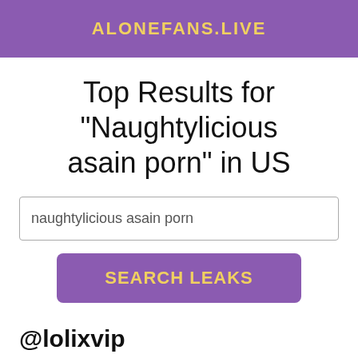ALONEFANS.LIVE
Top Results for "Naughtylicious asain porn" in US
naughtylicious asain porn
SEARCH LEAKS
@lolixvip
[Figure (photo): Partial thumbnail image of a person with teal/dark background and overlay text 'MAS EXPLICITA!']